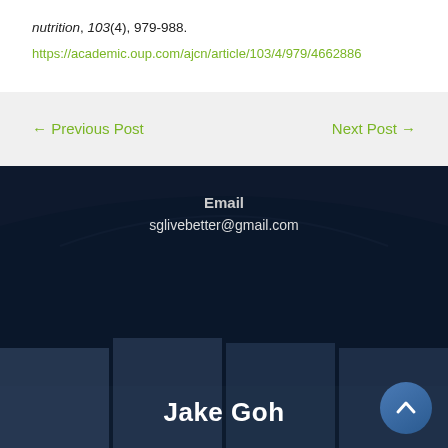nutrition, 103(4), 979-988. https://academic.oup.com/ajcn/article/103/4/979/4662886
← Previous Post
Next Post →
Email
sglivebetter@gmail.com
Jake Goh